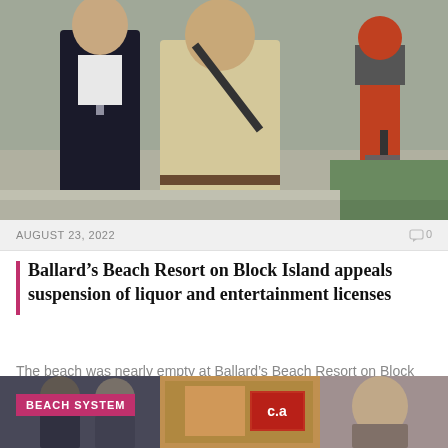[Figure (photo): Two men walking outdoors; one in a dark suit and the other in a beige polo shirt with a shoulder bag; a camera operator in red is visible in the background.]
AUGUST 23, 2022
0
Ballard’s Beach Resort on Block Island appeals suspension of liquor and entertainment licenses
The beach was nearly empty at Ballard’s Beach Resort on Block Island on Tuesday, August…
[Figure (photo): Partial view of a second news card showing people and a storefront; labeled BEACH SYSTEM.]